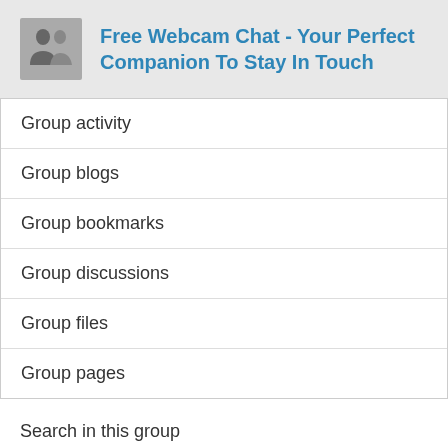Free Webcam Chat - Your Perfect Companion To Stay In Touch
Group activity
Group blogs
Group bookmarks
Group discussions
Group files
Group pages
Search in this group